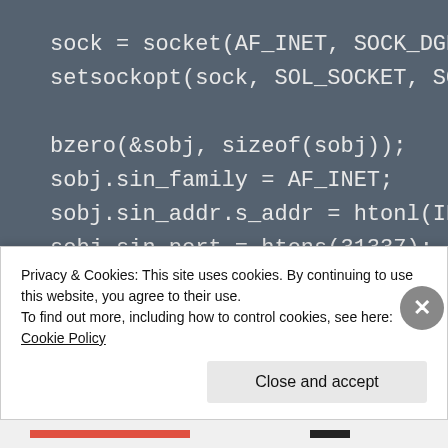[Figure (screenshot): Code screenshot showing C socket programming code on a dark grey-blue background. Code lines include: sock = socket(AF_INET, SOCK_DGRAM, ..., setsockopt(sock, SOL_SOCKET, SO_BR..., bzero(&sobj, sizeof(sobj));, sobj.sin_family = AF_INET;, sobj.sin_addr.s_addr = htonl(INADD..., sobj.sin_port = htons(31337);, bind(sock, (struct sockaddr *)&sob..., while (1), {]
Privacy & Cookies: This site uses cookies. By continuing to use this website, you agree to their use.
To find out more, including how to control cookies, see here: Cookie Policy
Close and accept